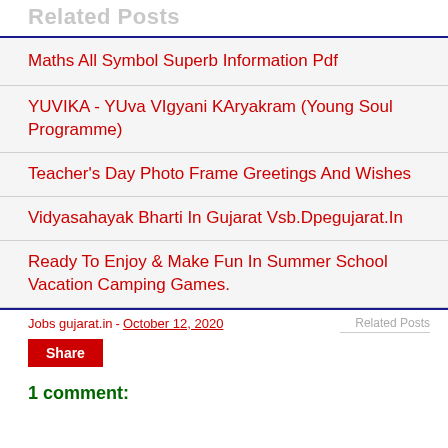Related Posts
Maths All Symbol Superb Information Pdf
YUVIKA - YUva VIgyani KAryakram (Young Soul Programme)
Teacher's Day Photo Frame Greetings And Wishes
Vidyasahayak Bharti In Gujarat Vsb.Dpegujarat.In
Ready To Enjoy & Make Fun In Summer School Vacation Camping Games.
Jobs gujarat.in - October 12, 2020
Share
1 comment: